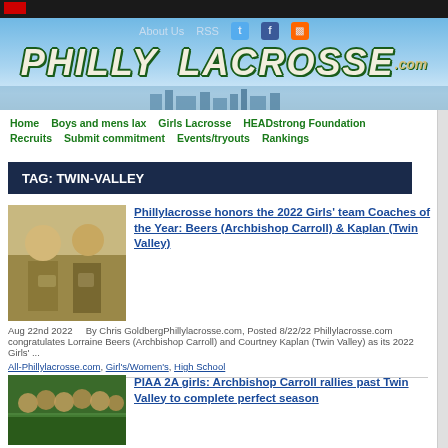Philly Lacrosse .com — About Us | RSS
[Figure (logo): PhillyLacrosse.com website header banner with sky blue gradient background, grunge-style italic bold text reading PHILLY LACROSSE .com with dark green outlined white lettering, city skyline silhouette at bottom]
Home   Boys and mens lax   Girls Lacrosse   HEADstrong Foundation   Recruits   Submit commitment   Events/tryouts   Rankings
TAG: TWIN-VALLEY
Phillylacrosse honors the 2022 Girls' team Coaches of the Year: Beers (Archbishop Carroll) & Kaplan (Twin Valley)
Aug 22nd 2022    By Chris GoldbergPhillylacrosse.com, Posted 8/22/22 Phillylacrosse.com congratulates Lorraine Beers (Archbishop Carroll) and Courtney Kaplan (Twin Valley) as its 2022 Girls' ...
All-Phillylacrosse.com, Girl's/Women's, High School
PIAA 2A girls: Archbishop Carroll rallies past Twin Valley to complete perfect season